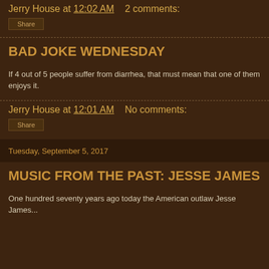Jerry House at 12:02 AM   2 comments:
Share
BAD JOKE WEDNESDAY
If 4 out of 5 people suffer from diarrhea, that must mean that one of them enjoys it.
Jerry House at 12:01 AM   No comments:
Share
Tuesday, September 5, 2017
MUSIC FROM THE PAST: JESSE JAMES
One hundred seventy ago today the American outlaw Jesse James...